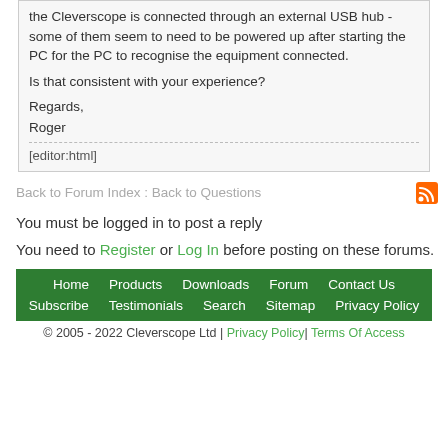the Cleverscope is connected through an external USB hub - some of them seem to need to be powered up after starting the PC for the PC to recognise the equipment connected.

Is that consistent with your experience?

Regards,
Roger
[editor:html]
Back to Forum Index : Back to Questions
You must be logged in to post a reply
You need to Register or Log In before posting on these forums.
Home   Products   Downloads   Forum   Contact Us   Subscribe   Testimonials   Search   Sitemap   Privacy Policy
© 2005 - 2022 Cleverscope Ltd | Privacy Policy | Terms Of Access